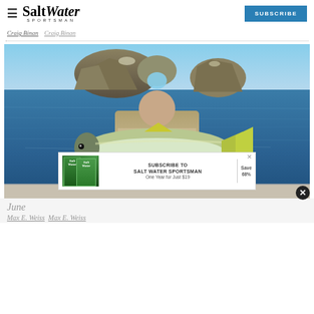Salt Water Sportsman — SUBSCRIBE
Craig Binan  Craig Binan
[Figure (photo): Man holding a large yellowfin tuna fish on a boat, with rocky islands and blue ocean in the background.]
[Figure (infographic): Subscribe to Salt Water Sportsman advertisement banner — One Year for Just $19, Save 68%]
June
Max E. Weiss  Max E. Weiss